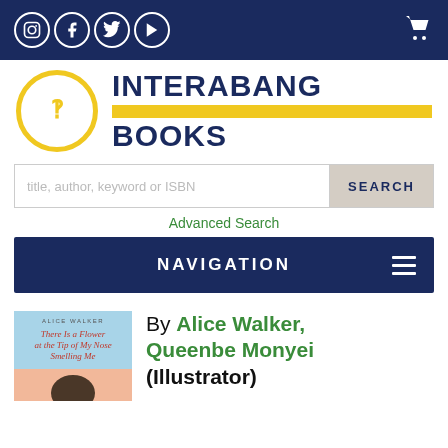Social icons: Instagram, Facebook, Twitter, YouTube | Cart icon
[Figure (logo): Interabang Books logo: yellow circle with interrobang symbol, text INTERABANG with yellow bar and BOOKS in dark navy]
title, author, keyword or ISBN | SEARCH
Advanced Search
NAVIGATION
By Alice Walker, Queenbe Monyei (Illustrator)
[Figure (illustration): Book cover: There is a Flower at the Tip of My Nose Smelling Me by Alice Walker]